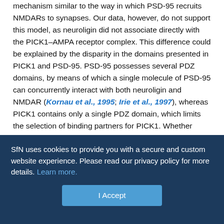mechanism similar to the way in which PSD-95 recruits NMDARs to synapses. Our data, however, do not support this model, as neuroligin did not associate directly with the PICK1–AMPA receptor complex. This difference could be explained by the disparity in the domains presented in PICK1 and PSD-95. PSD-95 possesses several PDZ domains, by means of which a single molecule of PSD-95 can concurrently interact with both neuroligin and NMDAR (Kornau et al., 1995; Irie et al., 1997), whereas PICK1 contains only a single PDZ domain, which limits the selection of binding partners for PICK1. Whether PICK1 dimerization through its BAR domain could fulfill the binding capability of PICK1 with NMDAR and neuroligin simultaneously remains unclear, and the functional role of the neuroligin–PICK1 interaction still warrants further exploration. A
SfN uses cookies to provide you with a secure and custom website experience. Please read our privacy policy for more details. Learn more.